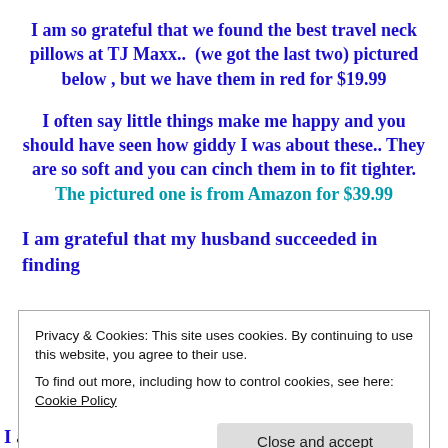I am so grateful that we found the best travel neck pillows at TJ Maxx..  (we got the last two) pictured below , but we have them in red for $19.99
I often say little things make me happy and you should have seen how giddy I was about these.. They are so soft and you can cinch them in to fit tighter. The pictured one is from Amazon for $39.99
I am grateful that my husband succeeded in finding
Privacy & Cookies: This site uses cookies. By continuing to use this website, you agree to their use.
To find out more, including how to control cookies, see here: Cookie Policy
Close and accept
I am grateful for how this experience is a lifetime in